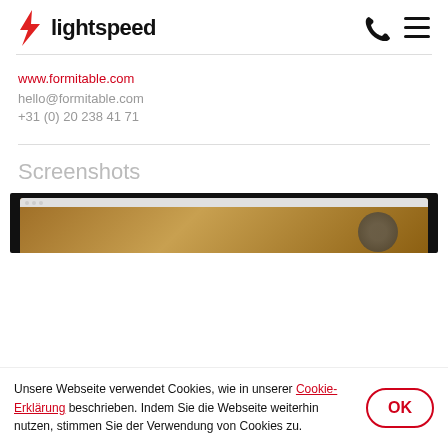lightspeed
www.formitable.com
hello@formitable.com
+31 (0) 20 238 41 71
Screenshots
[Figure (screenshot): Browser screenshot showing a website with dark background and warm-toned image]
Unsere Webseite verwendet Cookies, wie in unserer Cookie-Erklärung beschrieben. Indem Sie die Webseite weiterhin nutzen, stimmen Sie der Verwendung von Cookies zu.